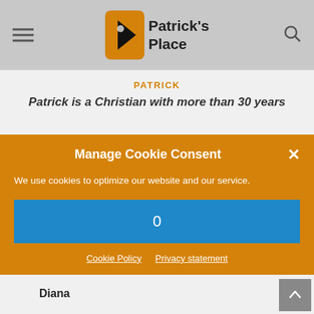Patrick's Place
PATRICK
Patrick is a Christian with more than 30 years
Manage Cookie Consent
We use cookies to optimize our website and our service.
0
Cookie Policy   Privacy statement
3 COMMENTS
Diana